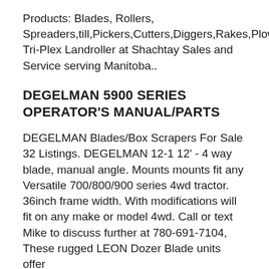Products: Blades, Rollers, Spreaders,till,Pickers,Cutters,Diggers,Rakes,Plows, Tri-Plex Landroller at Shachtay Sales and Service serving Manitoba..
DEGELMAN 5900 SERIES OPERATOR'S MANUAL/PARTS
DEGELMAN Blades/Box Scrapers For Sale 32 Listings. DEGELMAN 12-1 12' - 4 way blade, manual angle. Mounts mounts fit any Versatile 700/800/900 series 4wd tractor. 36inch frame width. With modifications will fit on any make or model 4wd. Call or text Mike to discuss further at 780-691-7104, These rugged LEON Dozer Blade units offer...